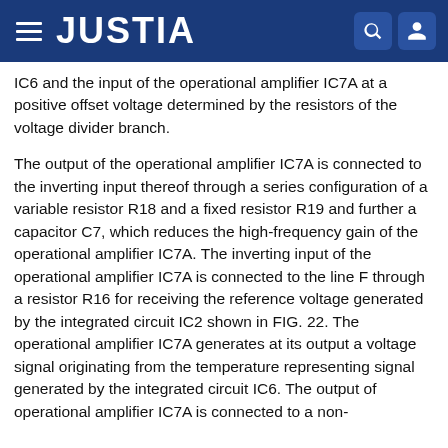JUSTIA
IC6 and the input of the operational amplifier IC7A at a positive offset voltage determined by the resistors of the voltage divider branch.
The output of the operational amplifier IC7A is connected to the inverting input thereof through a series configuration of a variable resistor R18 and a fixed resistor R19 and further a capacitor C7, which reduces the high-frequency gain of the operational amplifier IC7A. The inverting input of the operational amplifier IC7A is connected to the line F through a resistor R16 for receiving the reference voltage generated by the integrated circuit IC2 shown in FIG. 22. The operational amplifier IC7A generates at its output a voltage signal originating from the temperature representing signal generated by the integrated circuit IC6. The output of operational amplifier IC7A is connected to a non-